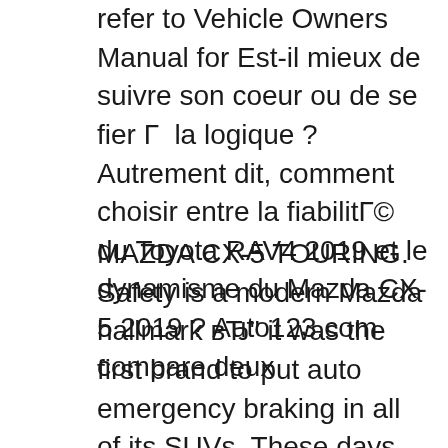refer to Vehicle Owners Manual for Est-il mieux de suivre son coeur ou de se fier Г  la logique ? Autrement dit, comment choisir entre la fiabilitГ© du Toyota RAV4 2019 et le dynamisme du Mazda CX-5 2019 ? Auto123.com compare deux
MAZDA CX-5 TOURING. Safety is a modern Mazda hallmark вЂ" it was the first brand to put auto emergency braking in all of its SUVs. These days, the CX-5 is also loaded with such clever gear as rear 2020 Mazda CX-5 вЂ" The forthcoming 2020 Mazda CX-5 is bringing much more changes this time around. A compact-crossover that made an immediate success will arrive with